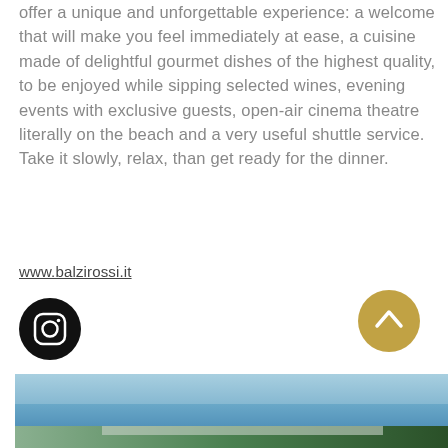offer a unique and unforgettable experience: a welcome that will make you feel immediately at ease, a cuisine made of delightful gourmet dishes of the highest quality, to be enjoyed while sipping selected wines, evening events with exclusive guests, open-air cinema theatre literally on the beach and a very useful shuttle service.
Take it slowly, relax, than get ready for the dinner.
www.balzirossi.it
[Figure (illustration): Instagram logo icon — black circle with camera outline]
[Figure (illustration): Back to top button — gold/tan circle with upward chevron]
[Figure (photo): Coastal landscape photo showing blue sky, sea, distant city buildings and trees on the right]